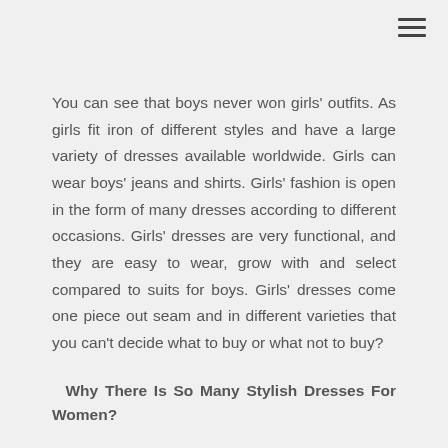You can see that boys never won girls' outfits. As girls fit iron of different styles and have a large variety of dresses available worldwide. Girls can wear boys' jeans and shirts. Girls' fashion is open in the form of many dresses according to different occasions. Girls' dresses are very functional, and they are easy to wear, grow with and select compared to suits for boys. Girls' dresses come one piece out seam and in different varieties that you can't decide what to buy or what not to buy?
Why There Is So Many Stylish Dresses For Women?
Huge Variety Of Dresses